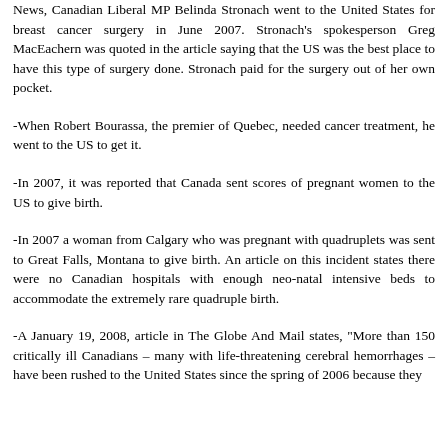News, Canadian Liberal MP Belinda Stronach went to the United States for breast cancer surgery in June 2007. Stronach's spokesperson Greg MacEachern was quoted in the article saying that the US was the best place to have this type of surgery done. Stronach paid for the surgery out of her own pocket.
-When Robert Bourassa, the premier of Quebec, needed cancer treatment, he went to the US to get it.
-In 2007, it was reported that Canada sent scores of pregnant women to the US to give birth.
-In 2007 a woman from Calgary who was pregnant with quadruplets was sent to Great Falls, Montana to give birth. An article on this incident states there were no Canadian hospitals with enough neo-natal intensive beds to accommodate the extremely rare quadruple birth.
-A January 19, 2008, article in The Globe And Mail states, "More than 150 critically ill Canadians – many with life-threatening cerebral hemorrhages – have been rushed to the United States since the spring of 2006 because they